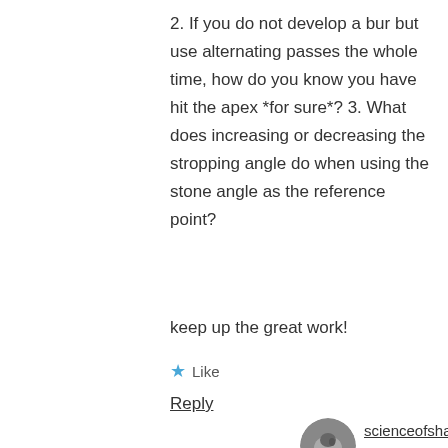2. If you do not develop a bur but use alternating passes the whole time, how do you know you have hit the apex *for sure*? 3. What does increasing or decreasing the stropping angle do when using the stone angle as the reference point?
keep up the great work!
★ Like
Reply
scienceofsharp says:
January 14, 2015 at 3:06 pm
I don't have a simple answer for